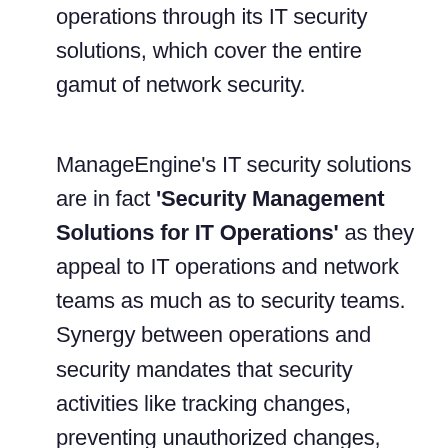operations through its IT security solutions, which cover the entire gamut of network security.
ManageEngine's IT security solutions are in fact 'Security Management Solutions for IT Operations' as they appeal to IT operations and network teams as much as to security teams. Synergy between operations and security mandates that security activities like tracking changes, preventing unauthorized changes, enforcing access controls & security policies, monitoring traffic & events, analyzing logs, detecting vulnerabilities, managing patches and other activities be done without hindering IT operations. ManageEngine perfectly helps achieve this.